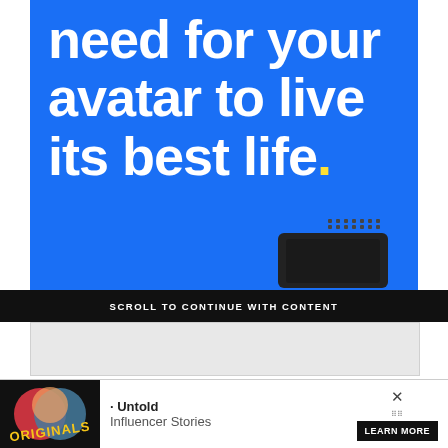[Figure (screenshot): Blue advertisement banner with large white bold text reading 'need for your avatar to live its best life.' with a yellow period, and a dark gaming device in the bottom right corner]
SCROLL TO CONTINUE WITH CONTENT
[Figure (other): Light gray advertisement placeholder rectangle]
Now that you have the Gen III Ghost-type on your team and its epic third forme evolution, check out our other BDSP guides and walkthroughs:
All Ra... Cresse...
[Figure (screenshot): Bottom banner ad showing Originals logo, Untold Influencer Stories text, and LEARN MORE button with X close button]